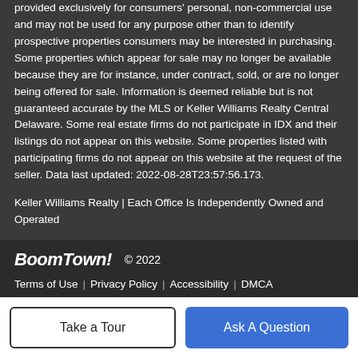provided exclusively for consumers' personal, non-commercial use and may not be used for any purpose other than to identify prospective properties consumers may be interested in purchasing. Some properties which appear for sale may no longer be available because they are for instance, under contract, sold, or are no longer being offered for sale. Information is deemed reliable but is not guaranteed accurate by the MLS or Keller Williams Realty Central Delaware. Some real estate firms do not participate in IDX and their listings do not appear on this website. Some properties listed with participating firms do not appear on this website at the request of the seller. Data last updated: 2022-08-28T23:57:56.173.
Keller Williams Realty | Each Office Is Independently Owned and Operated
BoomTown! © 2022
Terms of Use | Privacy Policy | Accessibility | DMCA